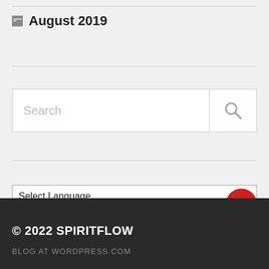August 2019
[Figure (screenshot): Search box with placeholder text 'Search' and a magnifying glass icon on the right]
Select Language
Powered by Google Translate
© 2022 SPIRITFLOW
BLOG AT WORDPRESS.COM